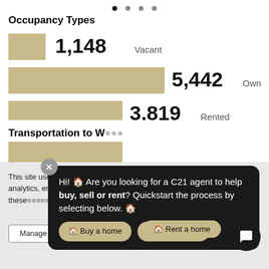Occupancy Types
[Figure (bar-chart): Occupancy Types]
Transportation to Work
This site uses cookies as described in our privacy policy. operation, analytics, enhanced you may choose to consent of these technologies or manage your own preferences.
Hi! 🏠 Are you looking for a C21 agent to help buy, sell or rent? Quickstart the process by selecting below. 🏠
🏠 Buy a home
🏠 Sell a home
🏠 Rent a home